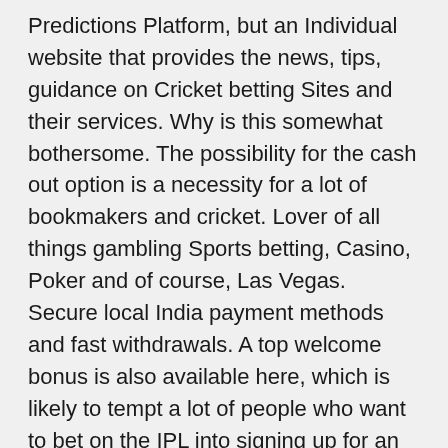Predictions Platform, but an Individual website that provides the news, tips, guidance on Cricket betting Sites and their services. Why is this somewhat bothersome. The possibility for the cash out option is a necessity for a lot of bookmakers and cricket. Lover of all things gambling Sports betting, Casino, Poker and of course, Las Vegas. Secure local India payment methods and fast withdrawals. A top welcome bonus is also available here, which is likely to tempt a lot of people who want to bet on the IPL into signing up for an account with 22Bet. Having started operating in 2019. With the large market it has, more operators are bound to spring up. Moreover, it serves as a fine IPL betting app, too. Those cricket betting apps you can find on our list have all the abovementioned qualities, and then some, which is why each can compete for the best cricket betting app title. How to get this